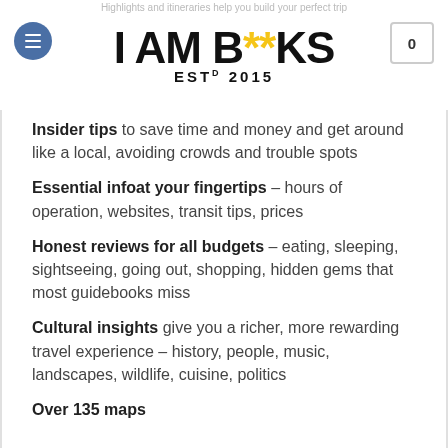I AM BOOKS ESTD 2015
Insider tips to save time and money and get around like a local, avoiding crowds and trouble spots
Essential infoat your fingertips – hours of operation, websites, transit tips, prices
Honest reviews for all budgets – eating, sleeping, sightseeing, going out, shopping, hidden gems that most guidebooks miss
Cultural insights give you a richer, more rewarding travel experience – history, people, music, landscapes, wildlife, cuisine, politics
Over 135 maps